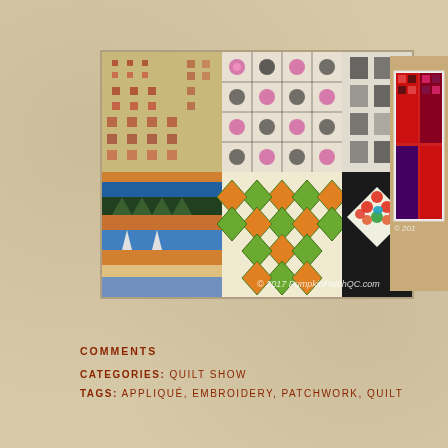[Figure (photo): Photo of multiple quilts displayed at a quilt show, showing various patchwork and appliqué patterns including floral, geometric, and scenic designs. Watermark reads © 2017 PumpkinPatchQC.com]
[Figure (photo): Partial view of a second quilt photo on the right side, showing red and dark colored quilt blocks. Partial watermark reads © 201]
COMMENTS
CATEGORIES: QUILT SHOW
TAGS: APPLIQUÉ, EMBROIDERY, PATCHWORK, QUILT